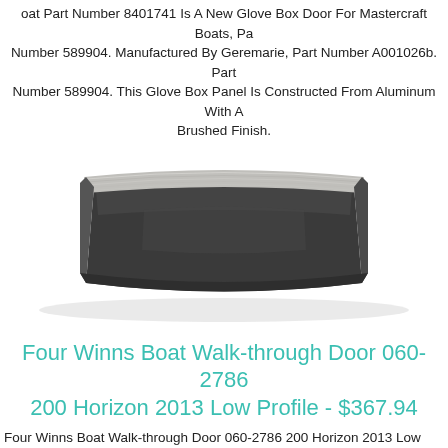Boat Part Number 8401741 Is A New Glove Box Door For Mastercraft Boats, Part Number 589904. Manufactured By Geremarie, Part Number A001026b. Part Number 589904. This Glove Box Panel Is Constructed From Aluminum With A Brushed Finish.
[Figure (photo): Photo of a dark charcoal/black curved glove box door panel with brushed aluminum top edge, viewed from slightly above.]
Four Winns Boat Walk-through Door 060-2786 200 Horizon 2013 Low Profile - $367.94
Four Winns Boat Walk-through Door 060-2786 200 Horizon 2013 Low Profile
Boat Part Number 8203721 Is A New Low-profile Walk-through Windshield Fo...